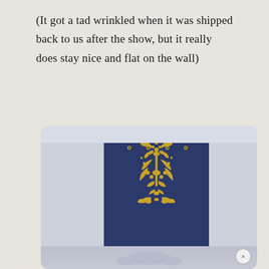(It got a tad wrinkled when it was shipped back to us after the show, but it really does stay nice and flat on the wall)
[Figure (photo): A navy blue fabric banner or tapestry with an ornate gold damask/floral pattern, featuring grommets at the top for hanging. The fabric is shown mounted in a white frame or display stand. The gold design features elaborate scrollwork, leaves, and symmetrical floral motifs arranged vertically. The bottom portion shows a faint reflection of the pattern.]